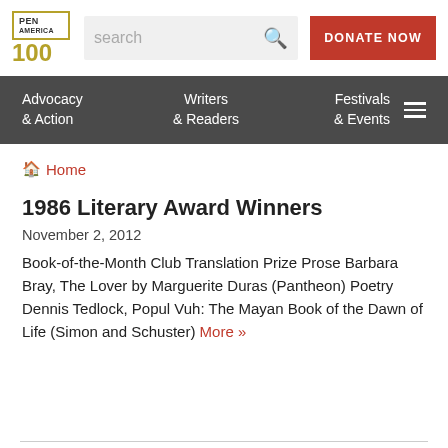[Figure (logo): PEN America 100 logo with gold border box and gold '100' text]
search
DONATE NOW
Advocacy & Action | Writers & Readers | Festivals & Events
Home
1986 Literary Award Winners
November 2, 2012
Book-of-the-Month Club Translation Prize Prose Barbara Bray, The Lover by Marguerite Duras (Pantheon) Poetry Dennis Tedlock, Popul Vuh: The Mayan Book of the Dawn of Life (Simon and Schuster) More »